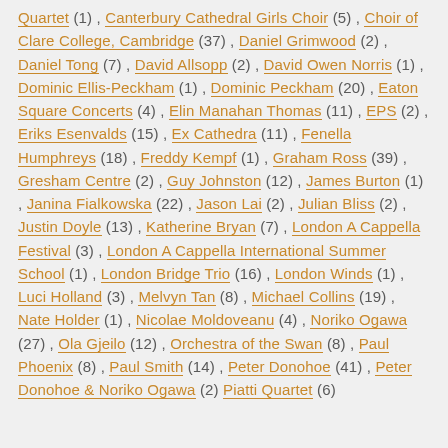Quartet (1) , Canterbury Cathedral Girls Choir (5) , Choir of Clare College, Cambridge (37) , Daniel Grimwood (2) , Daniel Tong (7) , David Allsopp (2) , David Owen Norris (1) , Dominic Ellis-Peckham (1) , Dominic Peckham (20) , Eaton Square Concerts (4) , Elin Manahan Thomas (11) , EPS (2) , Eriks Esenvalds (15) , Ex Cathedra (11) , Fenella Humphreys (18) , Freddy Kempf (1) , Graham Ross (39) , Gresham Centre (2) , Guy Johnston (12) , James Burton (1) , Janina Fialkowska (22) , Jason Lai (2) , Julian Bliss (2) , Justin Doyle (13) , Katherine Bryan (7) , London A Cappella Festival (3) , London A Cappella International Summer School (1) , London Bridge Trio (16) , London Winds (1) , Luci Holland (3) , Melvyn Tan (8) , Michael Collins (19) , Nate Holder (1) , Nicolae Moldoveanu (4) , Noriko Ogawa (27) , Ola Gjeilo (12) , Orchestra of the Swan (8) , Paul Phoenix (8) , Paul Smith (14) , Peter Donohoe (41) , Peter Donohoe & Noriko Ogawa (2) , Piatti Quartet (6)